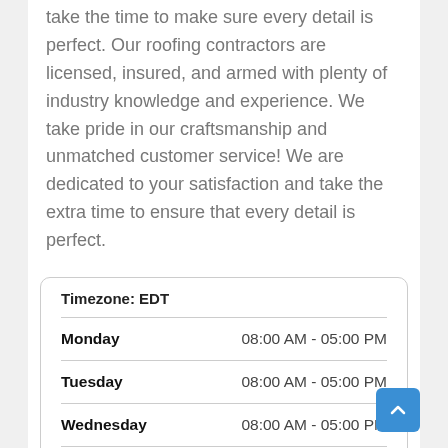take the time to make sure every detail is perfect. Our roofing contractors are licensed, insured, and armed with plenty of industry knowledge and experience. We take pride in our craftsmanship and unmatched customer service! We are dedicated to your satisfaction and take the extra time to ensure that every detail is perfect.
| Day | Hours |
| --- | --- |
| Monday | 08:00 AM - 05:00 PM |
| Tuesday | 08:00 AM - 05:00 PM |
| Wednesday | 08:00 AM - 05:00 PM |
| Thursday | 08:00 AM - 05:00 PM |